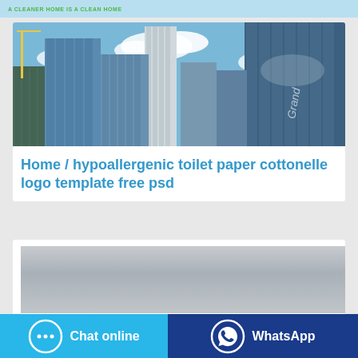A CLEANER HOME IS A CLEAN HOME
[Figure (photo): Upward view of tall glass skyscrapers against a blue sky with clouds]
Home / hypoallergenic toilet paper cottonelle logo template free psd
[Figure (photo): Gray gradient banner image]
Chat online
WhatsApp